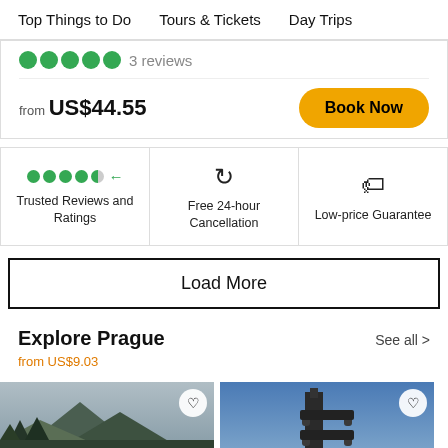Top Things to Do   Tours & Tickets   Day Trips
●●●●● 3 reviews
from US$44.55
Book Now
Trusted Reviews and Ratings
Free 24-hour Cancellation
Low-price Guarantee
Load More
Explore Prague
from US$9.03
See all >
[Figure (photo): Scenic landscape photo of mountain/hill with trees]
[Figure (photo): Photo of tall tower/building against blue sky]